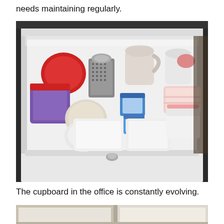needs maintaining regularly.
[Figure (photo): Open white drawer viewed from above, filled with plastic food storage containers of various sizes and colors including red, purple, pink, beige and white lids, a metal grater, and small containers, showing a somewhat disorganized but organized arrangement.]
The cupboard in the office is constantly evolving.
[Figure (photo): Partial view of the bottom of a cupboard or cabinet, showing the interior with light colored walls, cropped at the bottom of the page.]